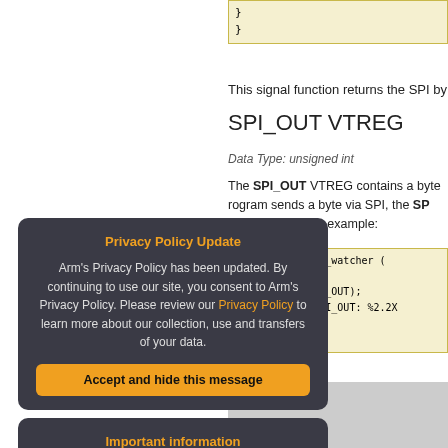}
}
This signal function returns the SPI by
SPI_OUT VTREG
Data Type: unsigned int
The SPI_OUT VTREG contains a byte... program sends a byte via SPI, the SP... ulation script. For example:
signal void spi_watcher (
while (1) {
    wwatch (SPI_OUT);
    printf ("SPI_OUT: %2.2X
    }
}
Privacy Policy Update
Arm's Privacy Policy has been updated. By continuing to use our site, you consent to Arm's Privacy Policy. Please review our Privacy Policy to learn more about our collection, use and transfers of your data.
Accept and hide this message
Important information
This site uses cookies to store information on your computer. By continuing to use our site, you consent to our cookies.
Don't show this message again
Change Settings